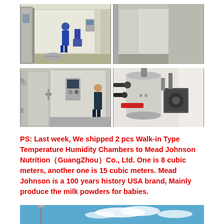[Figure (photo): Two photos side by side: left shows a person standing inside a large walk-in temperature humidity chamber with stainless steel interior and open door; right shows the same or similar chamber with door open and a person standing outside, plastic sheets visible.]
[Figure (photo): Two photos side by side: left shows the exterior of a walk-in temperature humidity chamber with a large door handle and control panel; right shows the mechanical/compressor components and piping of the humidity chamber system.]
PS: Last week, We shipped 2 pcs Walk-in Type Temperature Humidity Chambers to Mead Johnson Nutrition（GuangZhou）Co., Ltd. One is 8 cubic meters, another one is 15 cubic meters. Mead Johnson is a 100 years history USA brand, Mainly produce the milk powders for babies.
[Figure (photo): Partial photo at bottom showing outdoor equipment against a blue sky with clouds.]